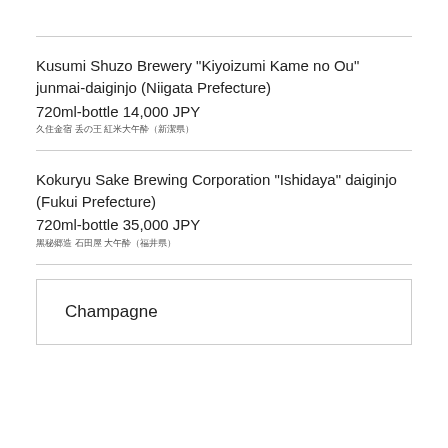Kusumi Shuzo Brewery "Kiyoizumi Kame no Ou" junmai-daiginjo (Niigata Prefecture)
720ml-bottle 14,000 JPY
久住酒造 亀の王 純米大吟醸（新潟県）
Kokuryu Sake Brewing Corporation "Ishidaya" daiginjo (Fukui Prefecture)
720ml-bottle 35,000 JPY
黒龍酒造 石田屋 大吟醸（福井県）
Champagne